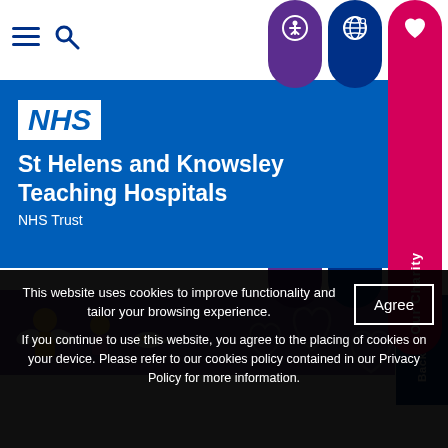[Figure (screenshot): NHS website top navigation bar with hamburger menu, search icon, and three pill-shaped buttons (accessibility, language, charity) in purple, navy, and pink]
NHS
St Helens and Knowsley Teaching Hospitals
NHS Trust
[Figure (illustration): Charity banner with purple background, cartoon children/angel figures and decorative heart outlines]
This website uses cookies to improve functionality and tailor your browsing experience.
If you continue to use this website, you agree to the placing of cookies on your device. Please refer to our cookies policy contained in our Privacy Policy for more information.